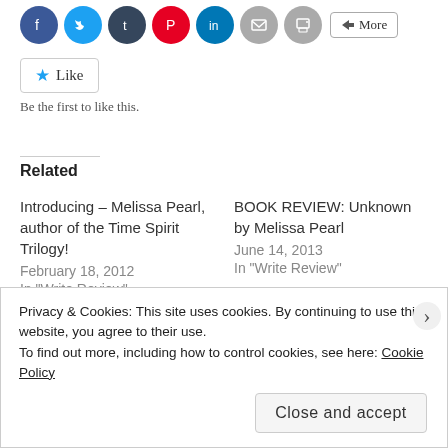[Figure (other): Social sharing icons row: Facebook, Twitter, Tumblr, Pinterest, LinkedIn, Email, Print, and a More button]
Like
Be the first to like this.
Related
Introducing – Melissa Pearl, author of the Time Spirit Trilogy!
February 18, 2012
In "Write Review"
BOOK REVIEW: Unknown by Melissa Pearl
June 14, 2013
In "Write Review"
Privacy & Cookies: This site uses cookies. By continuing to use this website, you agree to their use.
To find out more, including how to control cookies, see here: Cookie Policy
Close and accept